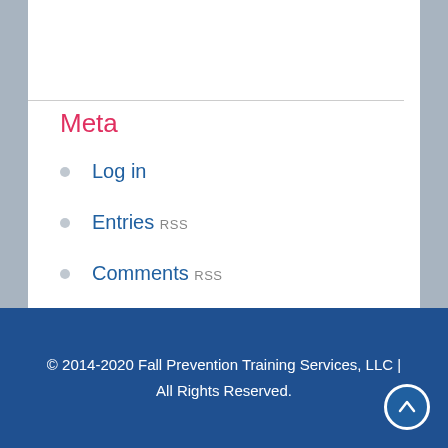Meta
Log in
Entries RSS
Comments RSS
WordPress.org
© 2014-2020 Fall Prevention Training Services, LLC | All Rights Reserved.